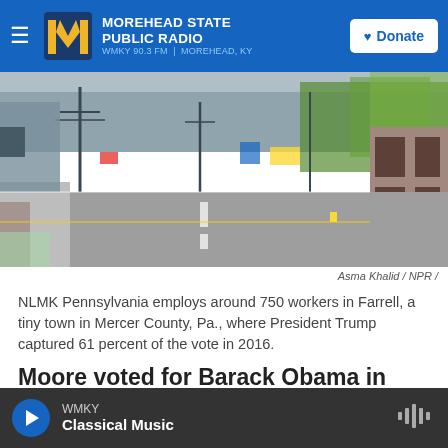Morehead State Public Radio — WMKY 90.3 FM | Morehead, KY — Donate
[Figure (photo): Street scene in Farrell, Pennsylvania — an empty road through a small town with utility poles, brick buildings, and trees visible.]
Asma Khalid / NPR /
NLMK Pennsylvania employs around 750 workers in Farrell, a tiny town in Mercer County, Pa., where President Trump captured 61 percent of the vote in 2016.
Moore voted for Barack Obama in 2008 and 2012, but during the last presidential election, he became
WMKY — Classical Music